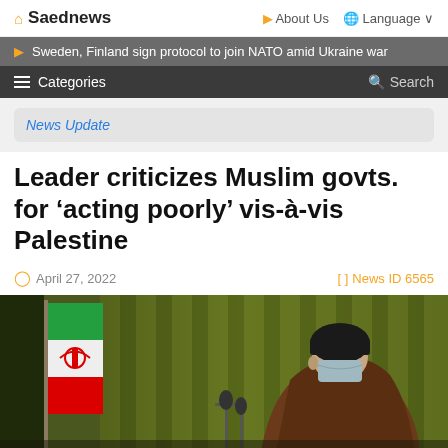🏠 Saednews    About Us  🌐 Language
Sweden, Finland sign protocol to join NATO amid Ukraine war
≡ Categories    🔍 Search
News Update
Leader criticizes Muslim govts. for 'acting poorly' vis-à-vis Palestine
April 27, 2022    News ID 6565
[Figure (photo): A religious leader wearing a black turban and face mask speaking at a podium with microphones, with an Iranian flag visible in the background and green curtain backdrop.]